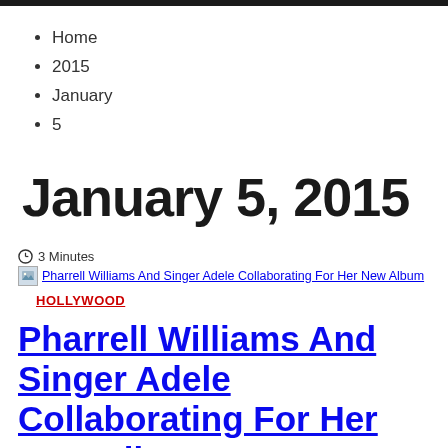Home
2015
January
5
January 5, 2015
3 Minutes
[Figure (other): Broken image thumbnail for article: Pharrell Williams And Singer Adele Collaborating For Her New Album]
Pharrell Williams And Singer Adele Collaborating For Her New Album
HOLLYWOOD
Pharrell Williams And Singer Adele Collaborating For Her New Album